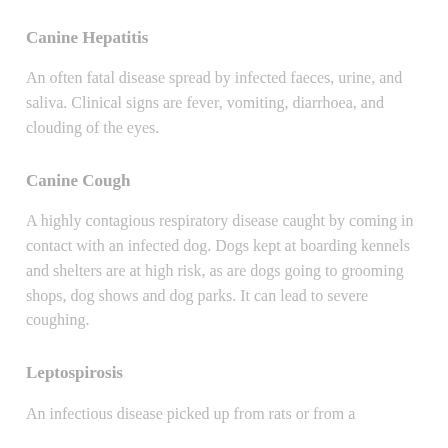Canine Hepatitis
An often fatal disease spread by infected faeces, urine, and saliva. Clinical signs are fever, vomiting, diarrhoea, and clouding of the eyes.
Canine Cough
A highly contagious respiratory disease caught by coming in contact with an infected dog. Dogs kept at boarding kennels and shelters are at high risk, as are dogs going to grooming shops, dog shows and dog parks. It can lead to severe coughing.
Leptospirosis
An infectious disease picked up from rats or from a